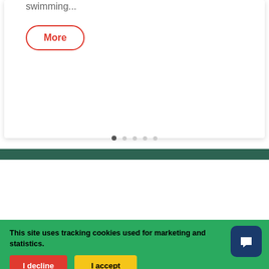swimming...
More
This site uses tracking cookies used for marketing and statistics.
I decline
I accept